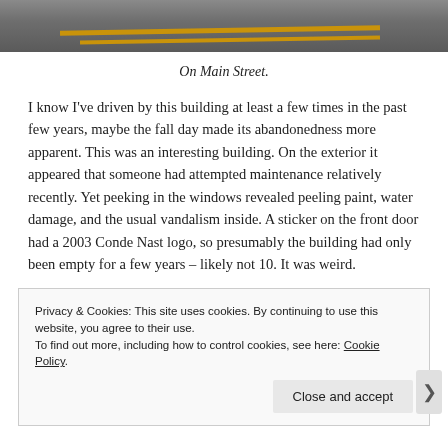[Figure (photo): Top portion of a road photo showing asphalt with yellow road markings/lines]
On Main Street.
I know I've driven by this building at least a few times in the past few years, maybe the fall day made its abandonedness more apparent. This was an interesting building. On the exterior it appeared that someone had attempted maintenance relatively recently. Yet peeking in the windows revealed peeling paint, water damage, and the usual vandalism inside. A sticker on the front door had a 2003 Conde Nast logo, so presumably the building had only been empty for a few years – likely not 10. It was weird.
Privacy & Cookies: This site uses cookies. By continuing to use this website, you agree to their use.
To find out more, including how to control cookies, see here: Cookie Policy